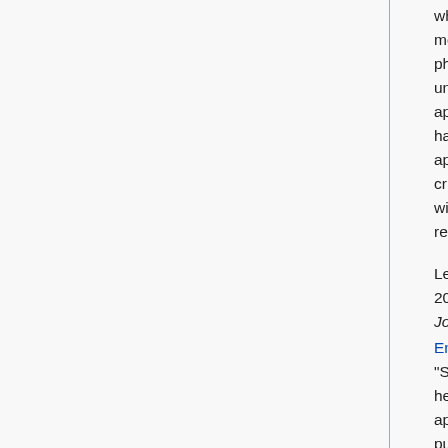where...the evidence is so convincing that no more studies need or should be done." His phrase is "What part of 'yes' don't doctors understand." In particular, "he cites the use of aprotinin in heart surgery" which since 1987 had 64 studies each conclusively showing that aprotinin reduced bleeding. Researchers were criticized for persisting in evaluating aprotinin without being fully aware of the previous research.
Less than four weeks later on January 26, 2006, the New York Times and the Wall Street Journal had respective headlines, Doctors Urge Ending Use of Heart Surgery Drug and "Serious Risks Are Found In Heart Drug." The heart drug, Trasylol, is, as you might guess, aprotinin! Some 4374 patients were in the study published by the New